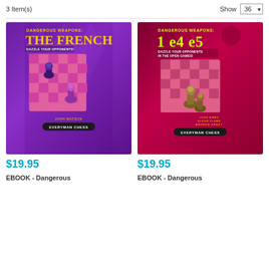3 Item(s)
Show 36
[Figure (photo): Book cover: Dangerous Weapons: The French by John Watson, Everyman Chess. Purple background with chess board and pieces.]
[Figure (photo): Book cover: Dangerous Weapons: 1 e4 e5 by John Emms, Glenn Flear, Andrew Greet, Everyman Chess. Red/pink background with chess board and pieces.]
$19.95
$19.95
EBOOK - Dangerous
EBOOK - Dangerous